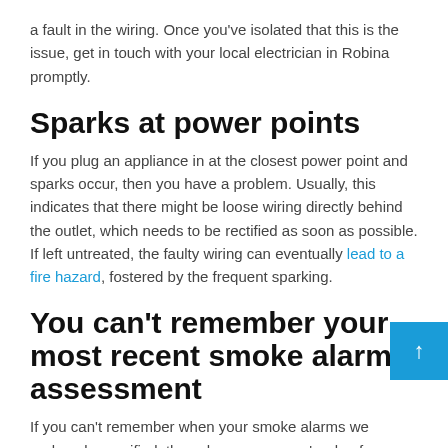a fault in the wiring. Once you've isolated that this is the issue, get in touch with your local electrician in Robina promptly.
Sparks at power points
If you plug an appliance in at the closest power point and sparks occur, then you have a problem. Usually, this indicates that there might be loose wiring directly behind the outlet, which needs to be rectified as soon as possible. If left untreated, the faulty wiring can eventually lead to a fire hazard, fostered by the frequent sparking.
You can't remember your most recent smoke alarm assessment
If you can't remember when your smoke alarms were replaced or verified, then chances are you're due for a visit from your local electrician in Robina. On average, your